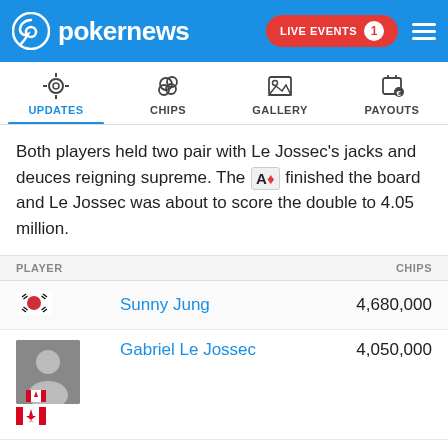pokernews | LIVE EVENTS 1
[Figure (screenshot): Navigation tabs: UPDATES (active, blue underline), CHIPS, GALLERY, PAYOUTS with icons]
Both players held two pair with Le Jossec's jacks and deuces reigning supreme. The A♦ finished the board and Le Jossec was about to score the double to 4.05 million.
| PLAYER | CHIPS |
| --- | --- |
| Sunny Jung (South Korea flag) | 4,680,000 |
| Gabriel Le Jossec (Canada flag) | 4,050,000 |
TAGS: Gabriel Le Jossec, Sunny Jung